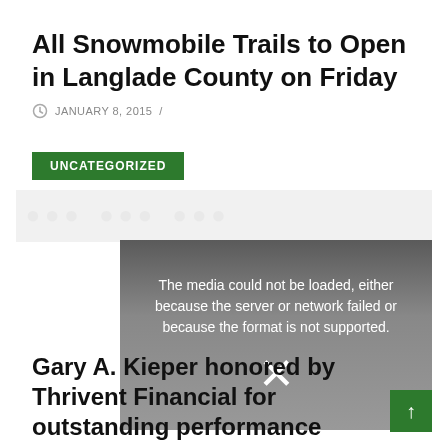All Snowmobile Trails to Open in Langlade County on Friday
JANUARY 8, 2015  /
UNCATEGORIZED
[Figure (screenshot): Media player error overlay: 'The media could not be loaded, either because the server or network failed or because the format is not supported.' with an X icon on a dark grey gradient background.]
Gary A. Kieper honored by Thrivent Financial for outstanding performance
FEBRUARY 4, 2015  /